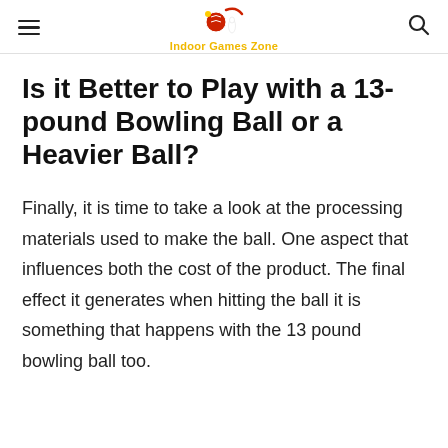Indoor Games Zone
Is it Better to Play with a 13-pound Bowling Ball or a Heavier Ball?
Finally, it is time to take a look at the processing materials used to make the ball. One aspect that influences both the cost of the product. The final effect it generates when hitting the ball it is something that happens with the 13 pound bowling ball too.